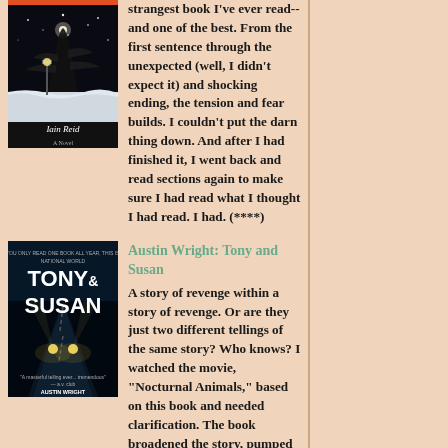strangest book I've ever read--and one of the best. From the first sentence through the unexpected (well, I didn't expect it) and shocking ending, the tension and fear builds. I couldn't put the darn thing down. And after I had finished it, I went back and read sections again to make sure I had read what I thought I had read. I had. (****)
[Figure (photo): Book cover of Tony and Susan by Austin Wright, dark blue/teal background with headlights on a road]
Austin Wright: Tony and Susan
A story of revenge within a story of revenge. Or are they just two different tellings of the same story? Who knows? I watched the movie, "Nocturnal Animals," based on this book and needed clarification. The book broadened the story, pumped up the